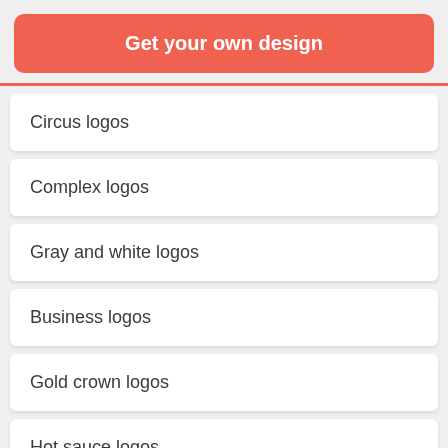Get your own design
Circus logos
Complex logos
Gray and white logos
Business logos
Gold crown logos
Hot sauce logos